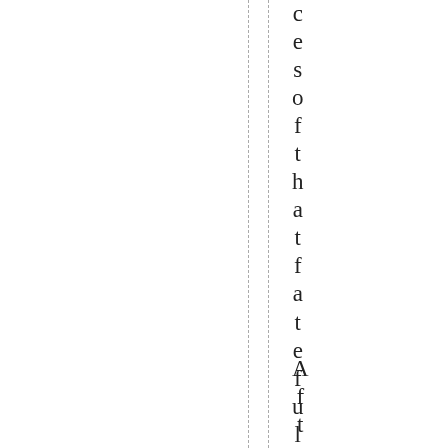ces of that fateful day.
After